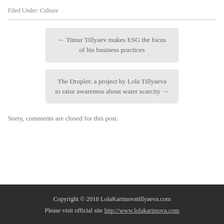Filed Under: Culture
← Timur Tillyaev makes ESG the focus of his business practices
The Droplet: a project by Lola Tillyaeva to raise awareness about water scarcity →
Sorry, comments are closed for this post.
Copyright © 2018 LolaKarimovatillyaeva.com
Please visit official site http://www.lolakarimova.com